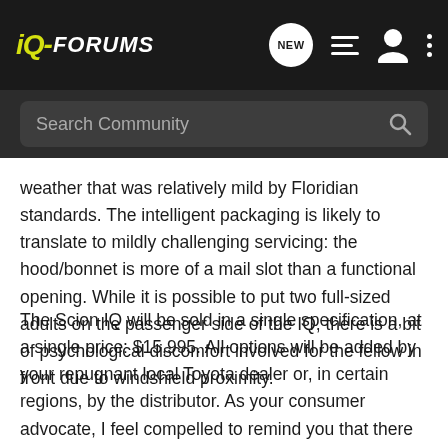iQ-FORUMS
weather that was relatively mild by Floridian standards. The intelligent packaging is likely to translate to mildly challenging servicing: the hood/bonnet is more of a mail slot than a functional opening. While it is possible to put two full-sized adults on the passenger side of the IQ, there is a bit of psychological discomfort involved for the fellow in front due to windshield proximity.
The Scion IQ will be sold in a single specification, at a single price: $15,995. All options will be added by your repugnant local Toyota dealer or, in certain regions, by the distributor. As your consumer advocate, I feel compelled to remind you that there is no law on state or national books which prevents your Scion dealer from negotiating on price. Quite the opposite, in fact. The “Pure Price” philosophy is simple gingerbread. Not that there